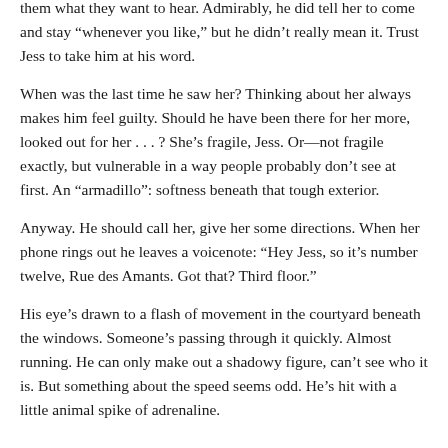them what they want to hear. Admirably, he did tell her to come and stay “whenever you like,” but he didn’t really mean it. Trust Jess to take him at his word.
When was the last time he saw her? Thinking about her always makes him feel guilty. Should he have been there for her more, looked out for her . . . ? She’s fragile, Jess. Or—not fragile exactly, but vulnerable in a way people probably don’t see at first. An “armadillo”: softness beneath that tough exterior.
Anyway. He should call her, give her some directions. When her phone rings out he leaves a voicenote: “Hey Jess, so it’s number twelve, Rue des Amants. Got that? Third floor.”
His eye’s drawn to a flash of movement in the courtyard beneath the windows. Someone’s passing through it quickly. Almost running. He can only make out a shadowy figure, can’t see who it is. But something about the speed seems odd. He’s hit with a little animal spike of adrenaline.